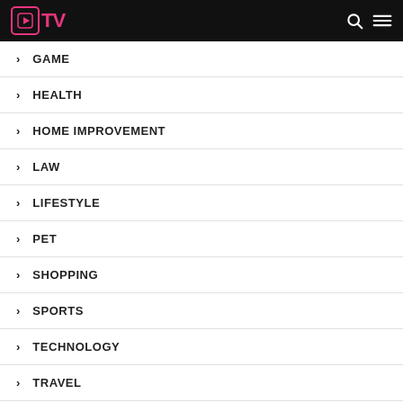TV Logo with navigation icons
GAME
HEALTH
HOME IMPROVEMENT
LAW
LIFESTYLE
PET
SHOPPING
SPORTS
TECHNOLOGY
TRAVEL
UNCATEGORIZED